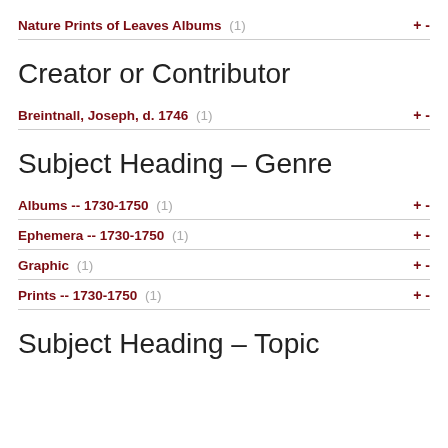Nature Prints of Leaves Albums (1)  + -
Creator or Contributor
Breintnall, Joseph, d. 1746 (1)  + -
Subject Heading – Genre
Albums -- 1730-1750 (1)  + -
Ephemera -- 1730-1750 (1)  + -
Graphic (1)  + -
Prints -- 1730-1750 (1)  + -
Subject Heading – Topic